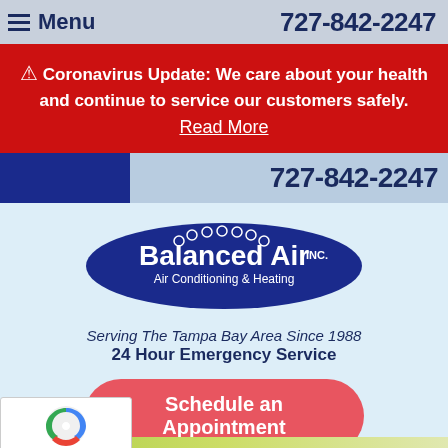Menu  727-842-2247
⚠ Coronavirus Update: We care about your health and continue to service our customers safely. Read More
727-842-2247
[Figure (logo): Balanced Air Inc. Air Conditioning & Heating logo — white text on dark blue oval shape]
Serving The Tampa Bay Area Since 1988
24 Hour Emergency Service
Schedule an Appointment